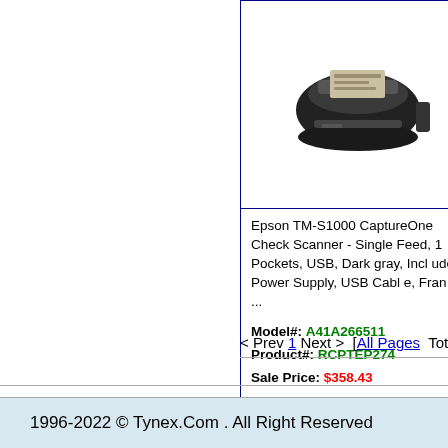[Figure (photo): Epson TM-S1000 check scanner photo - black device with document feed slot]
Epson TM-S1000 CaptureOne Check Scanner - Single Feed, 1 Pockets, USB, Dark gray, Includes Power Supply, USB Cable, Fran ...
Model#: A41A266511
Product#: RCPTEP274
Sale Price: $358.43
Smart Venus S with ND+ S VA, 60...
< Prev 1 Next > [All Pages] Total Items:15]
1996-2022 © Tynex.Com . All Right Reserved